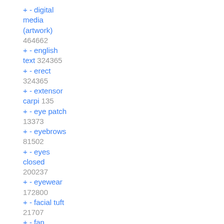+ - digital media (artwork) 464662
+ - english text 324365
+ - erect 324365
+ - extensor carpi 135
+ - eye patch 13373
+ - eyebrows 81502
+ - eyes closed 200237
+ - eyewear 172800
+ - facial tuft 21707
+ - fan character 73328
+ - feet 109814
+ - fingers 140731
+ - flaccid 30019